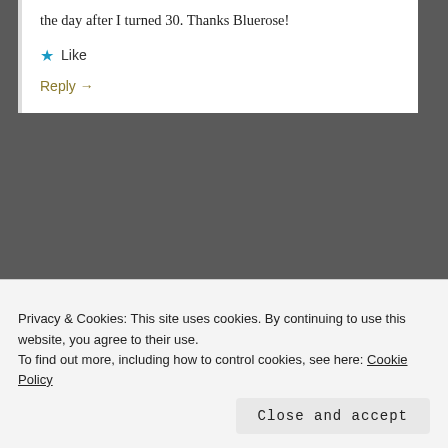the day after I turned 30. Thanks Bluerose!
★ Like
Reply →
[Figure (screenshot): WordPress advertisement banner showing text 'the front...' at top and 'WordPress in the back.' below on a colorful peach/pink gradient background with abstract blob shapes]
Privacy & Cookies: This site uses cookies. By continuing to use this website, you agree to their use. To find out more, including how to control cookies, see here: Cookie Policy
Close and accept